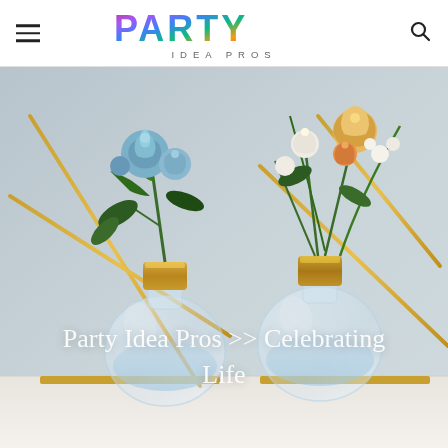PARTY IDEA PROS
[Figure (photo): Two light-bulb-shaped glass vases filled with water, fitted with gold metallic collars and holding fresh flowers (blue roses with greenery on the left; white, yellow, and orange blooms on the right), displayed on a gold wire stand against a grey background.]
Party Idea Pros >> Celebrating Life